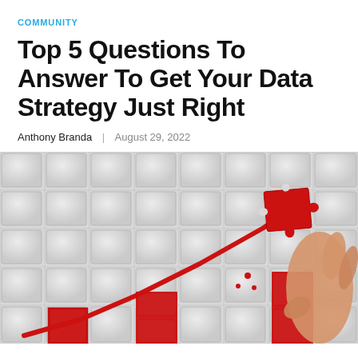COMMUNITY
Top 5 Questions To Answer To Get Your Data Strategy Just Right
Anthony Branda | August 29, 2022
[Figure (photo): A hand placing a red puzzle piece onto a white jigsaw puzzle, with a red bar chart and upward-trending arrow overlaid on the puzzle image, symbolizing data strategy and business growth.]